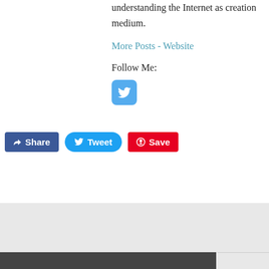understanding the Internet as creation medium.
More Posts - Website
Follow Me:
[Figure (logo): Twitter icon button (blue rounded square with bird logo)]
[Figure (infographic): Social sharing buttons: Facebook Share (blue), Twitter Tweet (light blue rounded), Pinterest Save (red)]
OTHERS ARTICLES